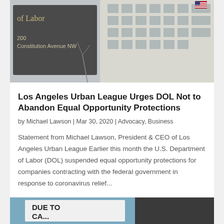[Figure (photo): Department of Labor building sign reading '200 Constitution Avenue NW' with office building facade and American flag in background]
Los Angeles Urban League Urges DOL Not to Abandon Equal Opportunity Protections
by Michael Lawson | Mar 30, 2020 | Advocacy, Business
Statement from Michael Lawson, President & CEO of Los Angeles Urban League Earlier this month the U.S. Department of Labor (DOL) suspended equal opportunity protections for companies contracting with the federal government in response to coronavirus relief...
[Figure (photo): Sign reading 'DUE TO CA...' partially visible, storefront or business closure sign]